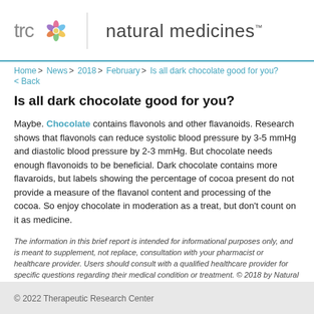[Figure (logo): TRC Natural Medicines logo with colorful flower icon, vertical divider, and 'natural medicines' text with trademark symbol]
Home > News > 2018 > February > Is all dark chocolate good for you?
< Back
Is all dark chocolate good for you?
Maybe. Chocolate contains flavonols and other flavanoids. Research shows that flavonols can reduce systolic blood pressure by 3-5 mmHg and diastolic blood pressure by 2-3 mmHg. But chocolate needs enough flavonoids to be beneficial. Dark chocolate contains more flavanoids, but labels showing the percentage of cocoa present do not provide a measure of the flavanol content and processing of the cocoa. So enjoy chocolate in moderation as a treat, but don't count on it as medicine.
The information in this brief report is intended for informational purposes only, and is meant to supplement, not replace, consultation with your pharmacist or healthcare provider. Users should consult with a qualified healthcare provider for specific questions regarding their medical condition or treatment. © 2018 by Natural Medicines Inc. Commercial distribution or reproduction prohibited. Natural Medicines is the leading evidence-based clinical information resource for dietary supplements, herbs, vitamins, minerals, functional foods, diets, complementary practices, CAM modalities, exercises and medical conditions. Includes monographs, databases, lab, labs, contraindications, depletions, dosing, toxicology, adverse effects, pregnancy and lactation data.
© 2022 Therapeutic Research Center